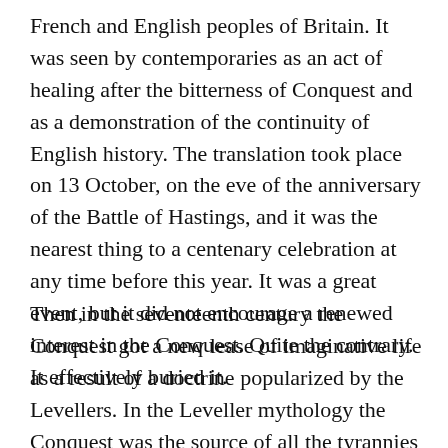French and English peoples of Britain. It was seen by contemporaries as an act of healing after the bitterness of Conquest and as a demonstration of the continuity of English history. The translation took place on 13 October, on the eve of the anniversary of the Battle of Hastings, and it was the nearest thing to a centenary celebration at any time before this year. It was a great event, but it did not encourage a renewed interest in the Conquest. Quite the contrary. It effectively buried it.
Then in the seventeenth century the Conquest got a new lease of imaginative life as a result of a doctrine popularized by the Levellers. In the Leveller mythology the Conquest was the source of all the tyrannies which oppressed the English people. The